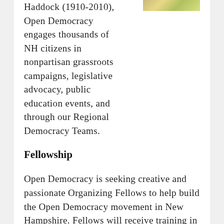[Figure (photo): Partial photo visible at top right, showing people possibly at an event, with yellow/green colors visible]
Haddock (1910-2010), Open Democracy engages thousands of NH citizens in nonpartisan grassroots campaigns, legislative advocacy, public education events, and through our Regional Democracy Teams.
Fellowship
Open Democracy is seeking creative and passionate Organizing Fellows to help build the Open Democracy movement in New Hampshire. Fellows will receive training in grassroots and online organizing, as well as communications, and will work directly on one or more of the following campaigns.